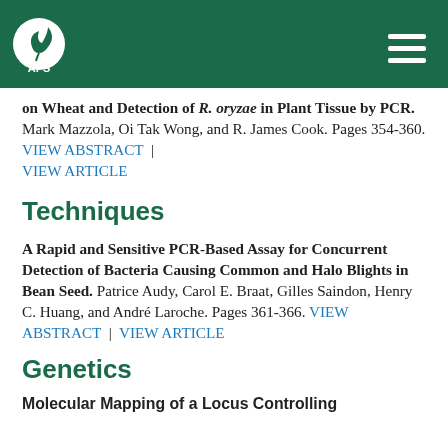[Figure (logo): APS (American Phytopathological Society) logo: white circle with leaf/plant icon and 'APS' text below, on dark green header bar with hamburger menu icon on the right]
on Wheat and Detection of R. oryzae in Plant Tissue by PCR. Mark Mazzola, Oi Tak Wong, and R. James Cook. Pages 354-360. VIEW ABSTRACT | VIEW ARTICLE
Techniques
A Rapid and Sensitive PCR-Based Assay for Concurrent Detection of Bacteria Causing Common and Halo Blights in Bean Seed. Patrice Audy, Carol E. Braat, Gilles Saindon, Henry C. Huang, and André Laroche. Pages 361-366. VIEW ABSTRACT | VIEW ARTICLE
Genetics
Molecular Mapping of a Locus Controlling